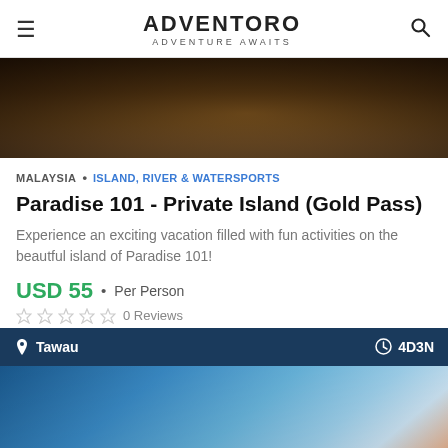ADVENTORO — ADVENTURE AWAITS
[Figure (photo): Blurred dark brown/amber hero background image]
MALAYSIA • ISLAND, RIVER & WATERSPORTS
Paradise 101 - Private Island (Gold Pass)
Experience an exciting vacation filled with fun activities on the beautful island of Paradise 101!
USD 55 • Per Person
0 Reviews
Tawau   4D3N
[Figure (photo): Blurred outdoor scene with blue sky and red/orange elements at bottom]